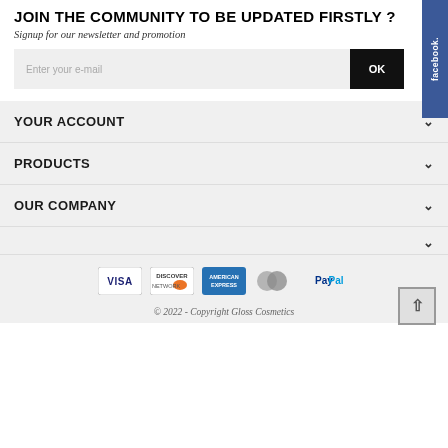JOIN THE COMMUNITY TO BE UPDATED FIRSTLY ?
Signup for our newsletter and promotion
Enter your e-mail
OK
YOUR ACCOUNT
PRODUCTS
OUR COMPANY
[Figure (other): Payment method logos: VISA, DISCOVER, AMERICAN EXPRESS, Mastercard, PayPal]
© 2022 - Copyright Gloss Cosmetics